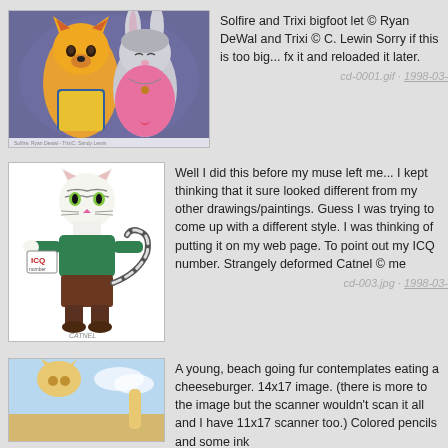[Figure (illustration): Colored pencil/watercolor drawing of two anthropomorphic animal characters - an orange cat/fox and a grey rabbit/bunny, in a romantic pose against a purple background. Caption at bottom reads 'Solfire Ryan Dewal / TrixiC Sandy Lewin']
Solfire and Trixi bigfoot let © Ryan DeWal and Trixi © C. Lewin Sorry if this is too big... fx it and reloaded it later.
cd-0001.gif · 1998-03-
[Figure (illustration): Black and white ink drawing of an anthropomorphic cat character (Catnel) standing upright, wearing a green top and brown pants, holding an ICQ sign. Has a striped tail.]
Well I did this before my muse left me... I kept thinking that it sure looked different from my other drawings/paintings. Guess I was trying to come up with a different style. I was thinking of putting it on my web page. To point out my ICQ number. Strangely deformed Catnel © me
cd-003.jpg · 1998-03-
[Figure (illustration): Partial view of a colored pencil illustration showing a young anthropomorphic fur character at a beach, contemplating a cheeseburger. Only top portion visible.]
A young, beach going fur contemplates eating a cheeseburger. 14x17 image. (there is more to the image but the scanner wouldn't scan it all and I have 11x17 scanner too.) Colored pencils and some ink